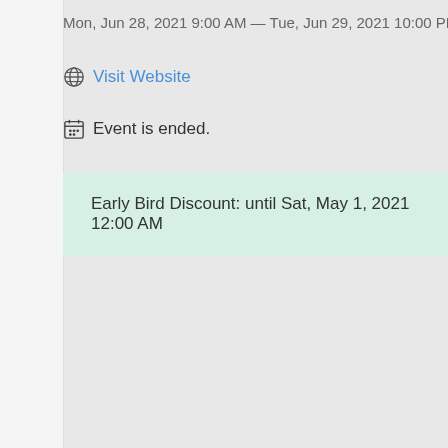Mon, Jun 28, 2021 9:00 AM — Tue, Jun 29, 2021 10:00 PM
Visit Website
Event is ended.
Early Bird Discount: until Sat, May 1, 2021 12:00 AM